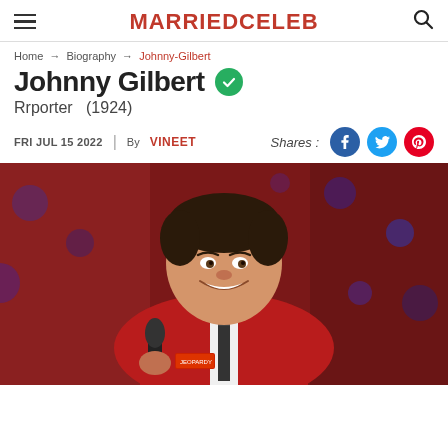MARRIEDCELEB
Home → Biography → Johnny-Gilbert
Johnny Gilbert
Rrporter (1924)
FRI JUL 15 2022 | By VINEET
[Figure (photo): Photo of Johnny Gilbert smiling, wearing a red blazer and holding a microphone on a game show stage]